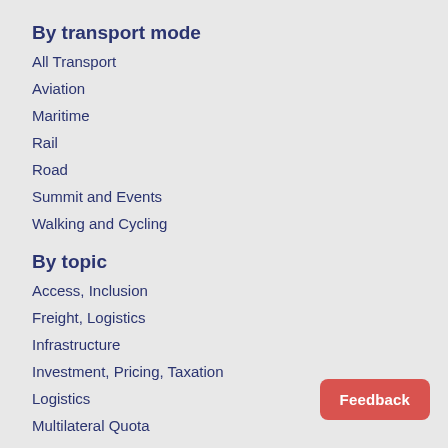By transport mode
All Transport
Aviation
Maritime
Rail
Road
Summit and Events
Walking and Cycling
By topic
Access, Inclusion
Freight, Logistics
Infrastructure
Investment, Pricing, Taxation
Logistics
Multilateral Quota
Feedback